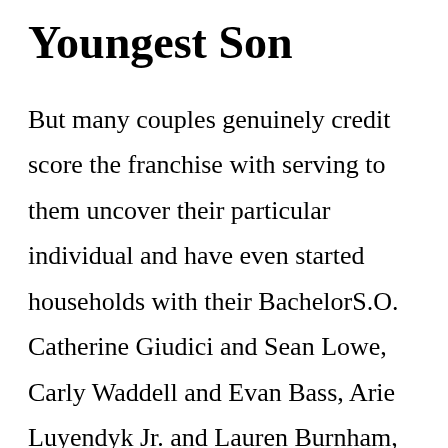Youngest Son
But many couples genuinely credit score the franchise with serving to them uncover their particular individual and have even started households with their BachelorS.O. Catherine Giudici and Sean Lowe, Carly Waddell and Evan Bass, Arie Luyendyk Jr. and Lauren Burnham, and further have all welcomed Bachelor Nation infants. Author Justin Lehmiller weighed in saying that it's totally nice and that we're attracted to those that